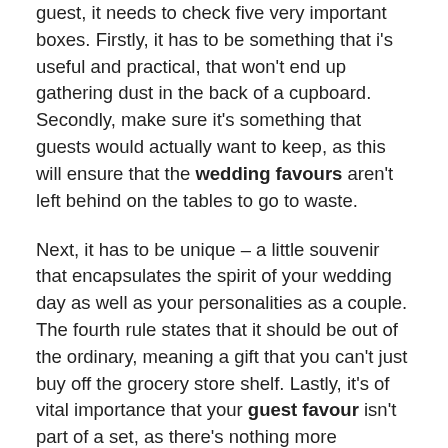guest, it needs to check five very important boxes. Firstly, it has to be something that i's useful and practical, that won't end up gathering dust in the back of a cupboard. Secondly, make sure it's something that guests would actually want to keep, as this will ensure that the wedding favours aren't left behind on the tables to go to waste.
Next, it has to be unique – a little souvenir that encapsulates the spirit of your wedding day as well as your personalities as a couple. The fourth rule states that it should be out of the ordinary, meaning a gift that you can't just buy off the grocery store shelf. Lastly, it's of vital importance that your guest favour isn't part of a set, as there's nothing more frustrating than receiving an odd teacup or wine glass that can't be put to good use.
Often wedding favours get left behind by accident – perhaps a glass of wine too many or the haste of getting a sleepy toddler home. So instead of placing guest favours on the tables, consider having an attendant stationed at